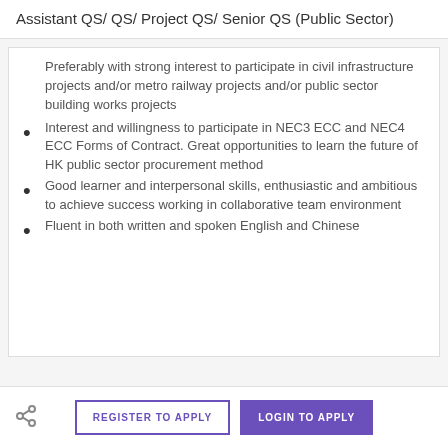Assistant QS/ QS/ Project QS/ Senior QS (Public Sector)
Preferably with strong interest to participate in civil infrastructure projects and/or metro railway projects and/or public sector building works projects
Interest and willingness to participate in NEC3 ECC and NEC4 ECC Forms of Contract. Great opportunities to learn the future of HK public sector procurement method
Good learner and interpersonal skills, enthusiastic and ambitious to achieve success working in collaborative team environment
Fluent in both written and spoken English and Chinese